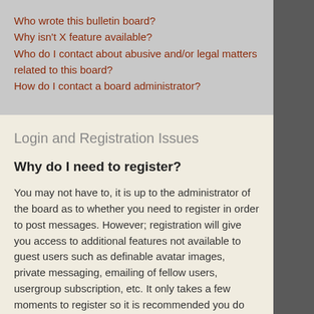Who wrote this bulletin board?
Why isn't X feature available?
Who do I contact about abusive and/or legal matters related to this board?
How do I contact a board administrator?
Login and Registration Issues
Why do I need to register?
You may not have to, it is up to the administrator of the board as to whether you need to register in order to post messages. However; registration will give you access to additional features not available to guest users such as definable avatar images, private messaging, emailing of fellow users, usergroup subscription, etc. It only takes a few moments to register so it is recommended you do so.
What is COPPA?
COPPA, or the Children's Online Privacy Protection Act of 1998, is a law in the United States requiring websites which can potentially collect information from minors